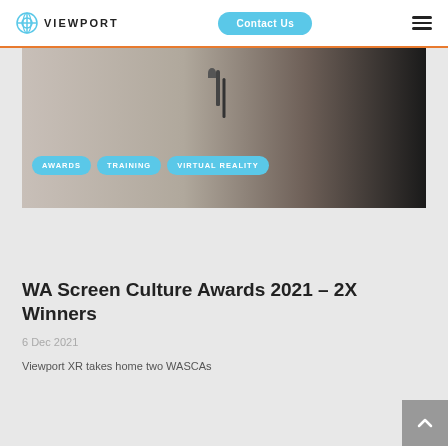VIEWPORT | Contact Us
[Figure (photo): Blurred photo of a microphone and dark backdrop, serving as hero image for the article]
AWARDS
TRAINING
VIRTUAL REALITY
WA Screen Culture Awards 2021 – 2X Winners
6 Dec 2021
Viewport XR takes home two WASCAs